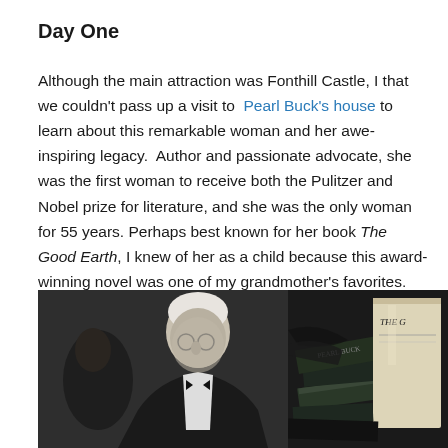Day One
Although the main attraction was Fonthill Castle, I that we couldn't pass up a visit to Pearl Buck's house to learn about this remarkable woman and her awe-inspiring legacy. Author and passionate advocate, she was the first woman to receive both the Pulitzer and Nobel prize for literature, and she was the only woman for 55 years. Perhaps best known for her book The Good Earth, I knew of her as a child because this award-winning novel was one of my grandmother's favorites.
[Figure (photo): Black and white photo of an elderly man, possibly at a formal event, looking downward.]
[Figure (photo): Black and white photo showing stacked books with 'THE G' visible on the cover of one, likely The Good Earth by Pearl Buck.]